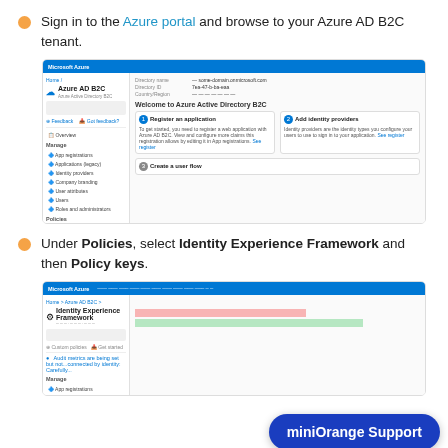Sign in to the Azure portal and browse to your Azure AD B2C tenant.
[Figure (screenshot): Screenshot of Azure portal showing Azure AD B2C dashboard with Identity Experience Framework highlighted in the left sidebar under Policies.]
Under Policies, select Identity Experience Framework and then Policy keys.
[Figure (screenshot): Screenshot of Azure portal showing Identity Experience Framework page with Policy keys highlighted in the left sidebar and miniOrange Support button overlay.]